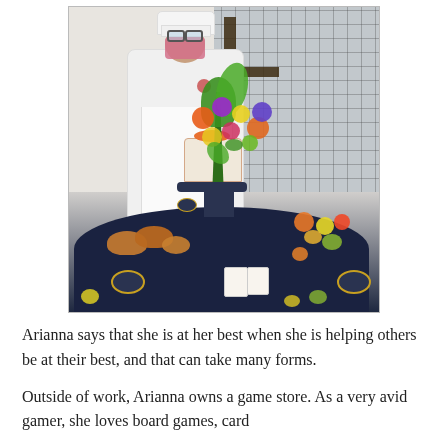[Figure (photo): A person wearing a white chef's uniform, chef hat, and a floral face mask, standing behind a round table decorated with a dark tablecloth. On the table are pastries (croissants), a layered cake, small dessert cups, and colorful floral arrangements with yellow, orange, purple, and green flowers. The background shows a latticed window and a wooden cross.]
Arianna says that she is at her best when she is helping others be at their best, and that can take many forms.
Outside of work, Arianna owns a game store. As a very avid gamer, she loves board games, card